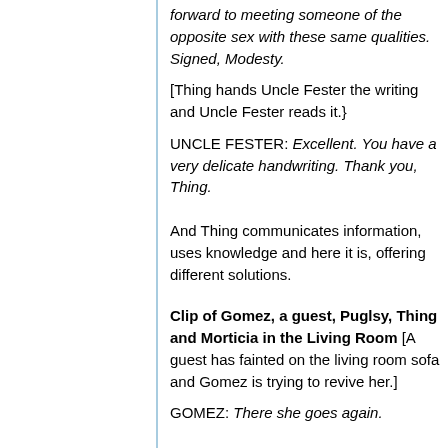forward to meeting someone of the opposite sex with these same qualities. Signed, Modesty.
[Thing hands Uncle Fester the writing and Uncle Fester reads it.}
UNCLE FESTER: Excellent. You have a very delicate handwriting. Thank you, Thing.
And Thing communicates information, uses knowledge and here it is, offering different solutions.
Clip of Gomez, a guest, Puglsy, Thing and Morticia in the Living Room [A guest has fainted on the living room sofa and Gomez is trying to revive her.]
GOMEZ: There she goes again.